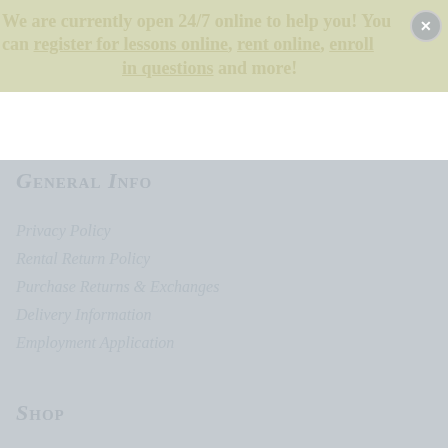We are currently open 24/7 online to help you! You can register for lessons online, rent online, enroll in questions and more!
General Info
Privacy Policy
Rental Return Policy
Purchase Returns & Exchanges
Delivery Information
Employment Application
Shop